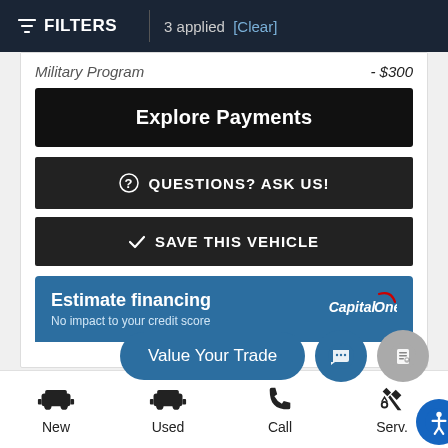FILTERS | 3 applied [Clear]
Military Program - $300
Explore Payments
QUESTIONS? ASK US!
SAVE THIS VEHICLE
Estimate financing
No impact to your credit score
Value Your Trade
[Figure (screenshot): Capital One logo with red arc and italic text]
New | Used | Call | Serv...